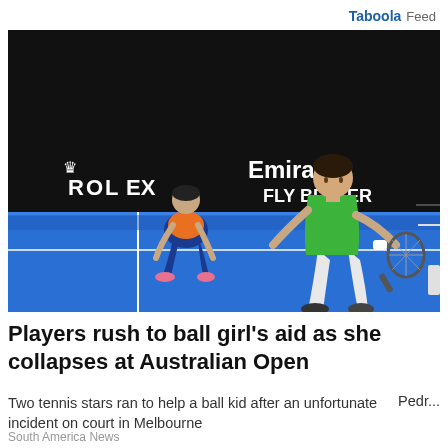Taboola Feed
[Figure (photo): Tennis player in green shirt crouching on blue court at Australian Open, with ball girl crouched in background near Rolex and Emirates FLY BETTER advertising boards]
Players rush to ball girl's aid as she collapses at Australian Open
Two tennis stars ran to help a ball kid after an unfortunate incident on court in Melbourne
Pedr...
South America News